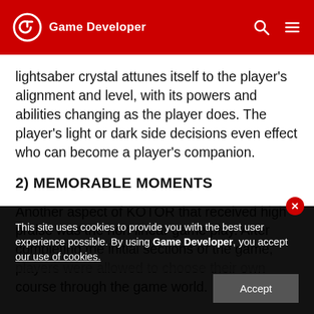Game Developer
lightsaber crystal attunes itself to the player's alignment and level, with its powers and abilities changing as the player does. The player's light or dark side decisions even effect who can become a player's companion.
2) MEMORABLE MOMENTS
Another aspect of KOTOR that received high praise was the non-linear game play. After completing the initial sections of the game, players were allowed to choose their own course through the game world.
This site uses cookies to provide you with the best user experience possible. By using Game Developer, you accept our use of cookies.